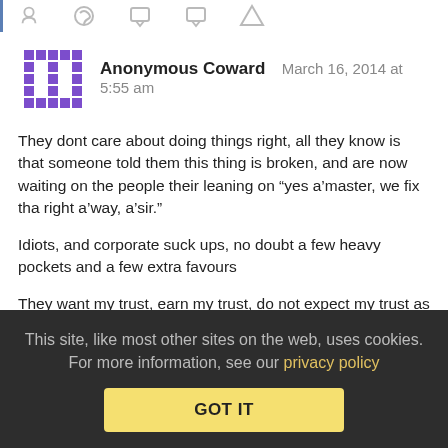[navigation icons bar]
Anonymous Coward   March 16, 2014 at 5:55 am
They dont care about doing things right, all they know is that someone told them this thing is broken, and are now waiting on the people their leaning on “yes a'master, we fix tha right a'way, a'sir."

Idiots, and corporate suck ups, no doubt a few heavy pockets and a few extra favours

They want my trust, earn my trust, do not expect my trust as if they feel entitled to it, and the last thing they should do, is point themselves out as those who DONT have my trust..........no
This site, like most other sites on the web, uses cookies. For more information, see our privacy policy
GOT IT